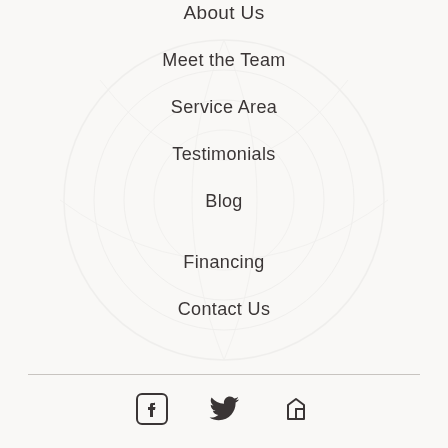About Us
Meet the Team
Service Area
Testimonials
Blog
Financing
Contact Us
[Figure (illustration): Social media icons: Facebook, Twitter, Houzz]